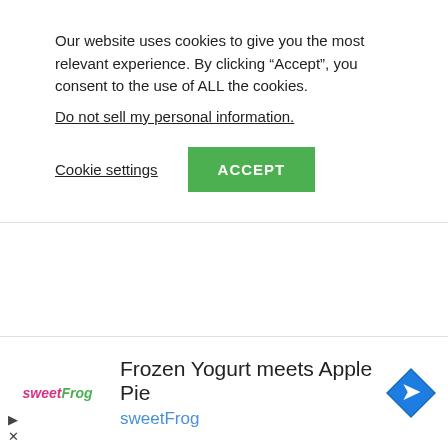Our website uses cookies to give you the most relevant experience. By clicking “Accept”, you consent to the use of ALL the cookies.
Do not sell my personal information.
Cookie settings   ACCEPT
In February 2016, the fantastic StockX was given birth to. In the beginning,
[Figure (other): Advertisement banner for sweetFrog: Frozen Yogurt meets Apple Pie, with sweetFrog logo and blue navigation icon]